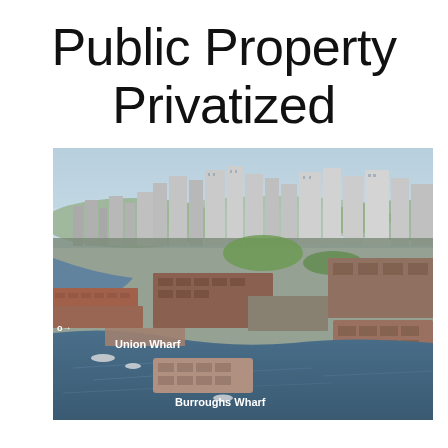Public Property Privatized
[Figure (photo): Aerial photograph of Boston waterfront showing Union Wharf and Burroughs Wharf with the city skyline in the background. Labels in white text identify Union Wharf and Burroughs Wharf on the waterfront.]